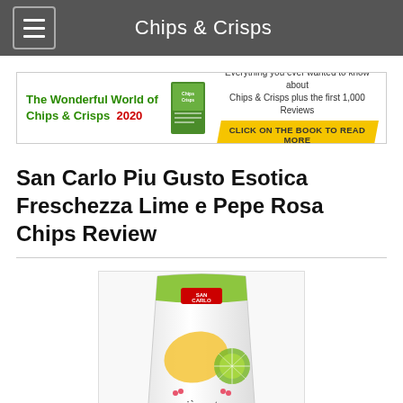Chips & Crisps
[Figure (other): Banner advertisement for 'The Wonderful World of Chips & Crisps 2020' book with green text, book image thumbnail, and yellow arrow button reading 'CLICK ON THE BOOK TO READ MORE']
San Carlo Piu Gusto Esotica Freschezza Lime e Pepe Rosa Chips Review
[Figure (photo): San Carlo Più Gusto Esotica Freschezza chip bag — white bag with green top seal, red San Carlo logo, a potato chip and lime slice illustration, pink/red dot decorations, and 'più gusto esotica freschezza' text at bottom]